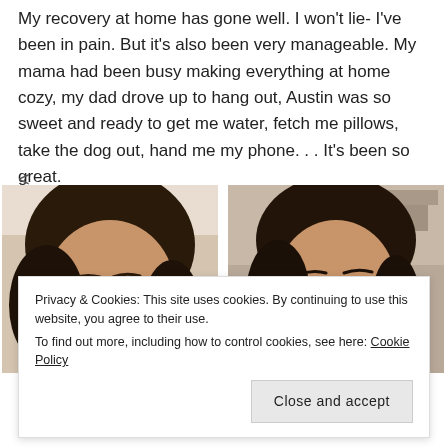My recovery at home has gone well. I won't lie- I've been in pain. But it's also been very manageable. My mama had been busy making everything at home cozy, my dad drove up to hang out, Austin was so sweet and ready to get me water, fetch me pillows, take the dog out, hand me my phone. . . It's been so great.
<
[Figure (photo): Close-up selfie of a woman with dark hair and clear-framed glasses, lying down, looking at camera]
[Figure (photo): Close-up selfie of a woman with dark hair, resting against a pillow or couch, looking at camera]
Privacy & Cookies: This site uses cookies. By continuing to use this website, you agree to their use. To find out more, including how to control cookies, see here: Cookie Policy
Close and accept